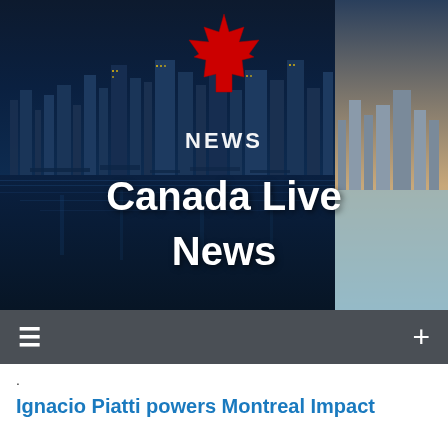[Figure (photo): Canada Live News website header banner showing city skyline (Vancouver/Montreal) reflected in water at dusk/night on the left, daytime skyline on the right, with a red Canadian maple leaf logo above the word NEWS in the center, and large white bold text reading 'Canada Live News' overlaid on the image.]
≡  +
.
Ignacio Piatti powers Montreal Impact